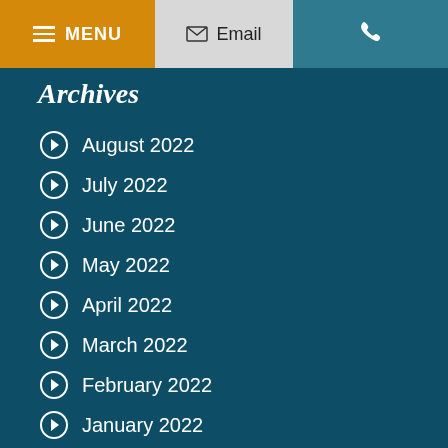MENU | Email | Phone
Archives
August 2022
July 2022
June 2022
May 2022
April 2022
March 2022
February 2022
January 2022